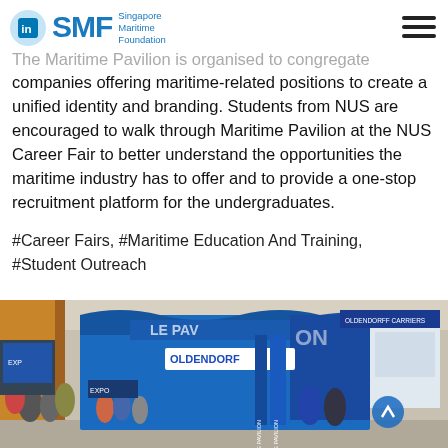SMF Singapore Maritime Foundation
The Maritime Pavilion is organised to congregate companies offering maritime-related positions to create a unified identity and branding. Students from NUS are encouraged to walk through Maritime Pavilion at the NUS Career Fair to better understand the opportunities the maritime industry has to offer and to provide a one-stop recruitment platform for the undergraduates.
#Career Fairs, #Maritime Education And Training, #Student Outreach
[Figure (photo): Photo of a Maritime Pavilion at an exhibition/career fair, showing booths for Oldendorff Carriers and other maritime companies, with visitors walking around.]